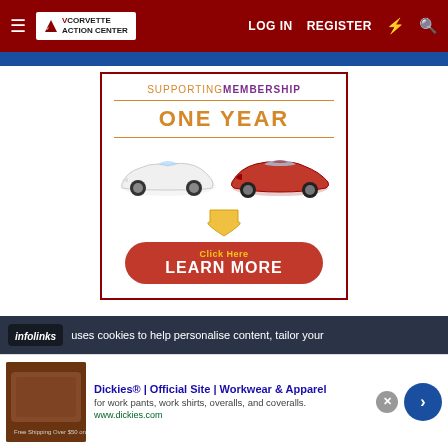Corvette Action Center — LOG IN  REGISTER
[Figure (screenshot): Corvette Action Center website navigation bar with logo, LOG IN, REGISTER links and icons on dark red background]
[Figure (infographic): Supporting Membership One Year advertisement banner with two Corvette cars (classic white and modern red), a yellow arrow, and a red 'Click Here - LEARN MORE' button]
uses cookies to help personalise content, tailor your
Dickies® | Official Site | Workwear & Apparel — for work pants, work shirts, overalls, and coveralls. www.dickies.com